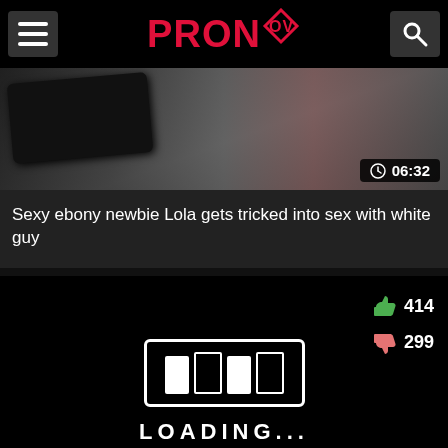PRONOV
[Figure (screenshot): Video thumbnail showing a dark device on a table, with duration badge showing 06:32]
Sexy ebony newbie Lola gets tricked into sex with white guy
[Figure (screenshot): Black video player showing a loading screen with loading bar graphic and LOADING... text, with like count 414, dislike count 299, and duration 12:12]
Adele Laurentia in guy fucks a blonde amateur girl on a beach